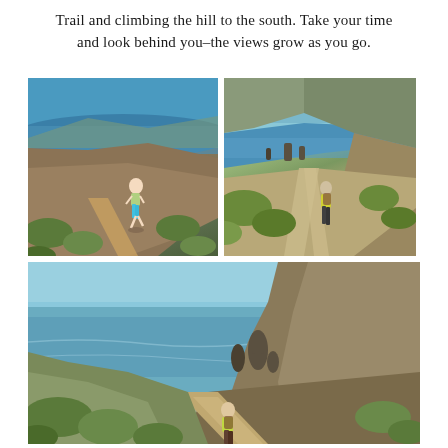Trail and climbing the hill to the south. Take your time and look behind you–the views grow as you go.
[Figure (photo): Woman running on a coastal trail with steep cliffs and blue ocean visible in the background, clear sky overhead.]
[Figure (photo): Hiker walking away on a dirt trail with dramatic coastal cliffs, rocky sea stacks, and green vegetation visible.]
[Figure (photo): Wide panoramic view of a coastal hiking trail with sparkling ocean below, rocky cliffs, and a hiker in the foreground on a sunny day.]